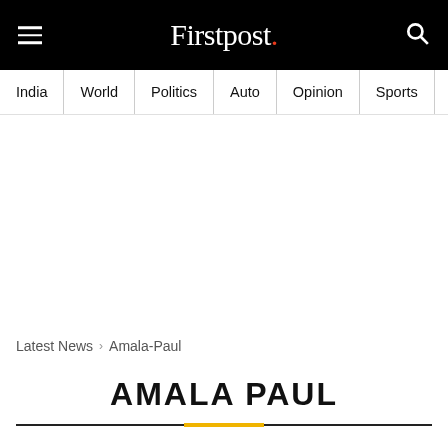Firstpost.
India | World | Politics | Auto | Opinion | Sports | Explainers
Latest News > Amala-Paul
AMALA PAUL